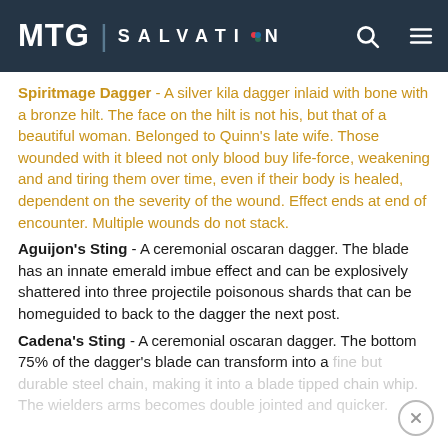MTG | SALVATION
Spiritmage Dagger - A silver kila dagger inlaid with bone with a bronze hilt. The face on the hilt is not his, but that of a beautiful woman. Belonged to Quinn's late wife. Those wounded with it bleed not only blood buy life-force, weakening and and tiring them over time, even if their body is healed, dependent on the severity of the wound. Effect ends at end of encounter. Multiple wounds do not stack.
Aguijon's Sting - A ceremonial oscaran dagger. The blade has an innate emerald imbue effect and can be explosively shattered into three projectile poisonous shards that can be homeguided to back to the dagger the next post.
Cadena's Sting - A ceremonial oscaran dagger. The bottom 75% of the dagger's blade can transform into a fine but durable steel chain, making it into a blade tipped chain whip. The wielders arms becomes double jointed and quicker.